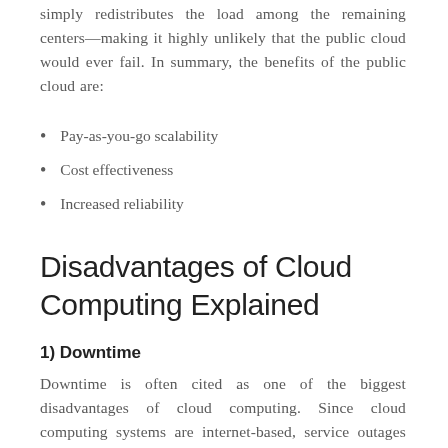simply redistributes the load among the remaining centers—making it highly unlikely that the public cloud would ever fail. In summary, the benefits of the public cloud are:
Pay-as-you-go scalability
Cost effectiveness
Increased reliability
Disadvantages of Cloud Computing Explained
1) Downtime
Downtime is often cited as one of the biggest disadvantages of cloud computing. Since cloud computing systems are internet-based, service outages are always an unfortunate possibility and can occur for any reason.